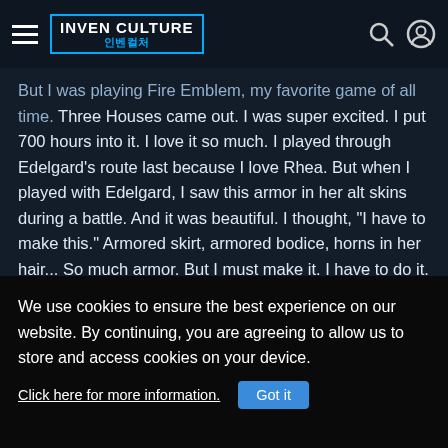INVEN CULTURE 인벤컬처
But I was playing Fire Emblem, my favorite game of all time. Three Houses came out. I was super excited. I put 700 hours into it. I love it so much. I played through Edelgard's route last because I love Rhea. But when I played with Edelgard, I saw this armor in her alt skins during a battle. And it was beautiful. I thought, "I have to make this." Armored skirt, armored bodice, horns in her hair... So much armor. But I must make it. I have to do it.
How long did it take you?
We use cookies to ensure the best experience on our website. By continuing, you are agreeing to allow us to store and access cookies on your device.
Click here for more information.